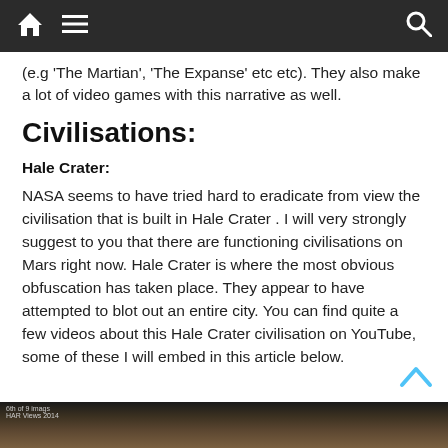Navigation bar with home, menu, and search icons
(e.g 'The Martian', 'The Expanse' etc etc). They also make a lot of video games with this narrative as well.
Civilisations:
Hale Crater:
NASA seems to have tried hard to eradicate from view the civilisation that is built in Hale Crater . I will very strongly suggest to you that there are functioning civilisations on Mars right now. Hale Crater is where the most obvious obfuscation has taken place. They appear to have attempted to blot out an entire city. You can find quite a few videos about this Hale Crater civilisation on YouTube, some of these I will embed in this article below.
[Figure (photo): Image strip at bottom showing a dark landscape photo with small text label partially visible]